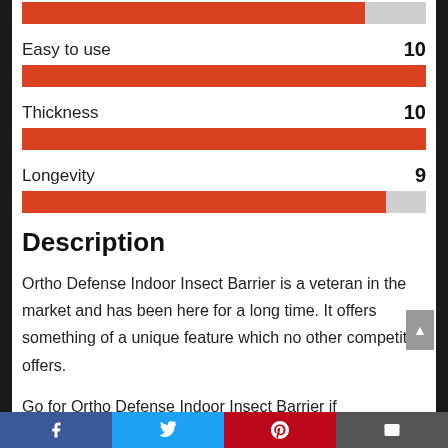[Figure (bar-chart): Ratings]
Description
Ortho Defense Indoor Insect Barrier is a veteran in the market and has been here for a long time. It offers something of a unique feature which no other competitor offers.
Go for Ortho Defense Indoor Insect Barrier if